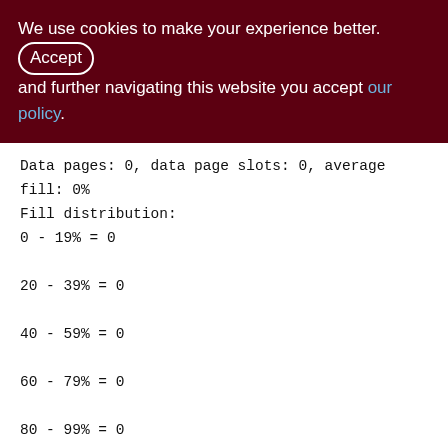We use cookies to make your experience better. By accepting and further navigating this website you accept our policy.
Data pages: 0, data page slots: 0, average fill: 0%
Fill distribution:
0 - 19% = 0
20 - 39% = 0
40 - 59% = 0
60 - 79% = 0
80 - 99% = 0
TMP$AUTOGEN$SOURCE (135)
Primary pointer page: 178, Index root page: 179